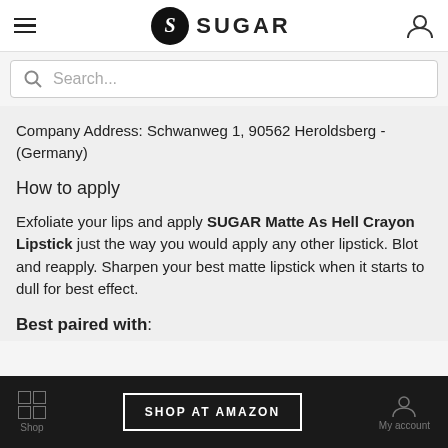SUGAR
Search...
Company Address: Schwanweg 1, 90562 Heroldsberg - (Germany)
How to apply
Exfoliate your lips and apply SUGAR Matte As Hell Crayon Lipstick just the way you would apply any other lipstick. Blot and reapply. Sharpen your best matte lipstick when it starts to dull for best effect.
Best paired with:
SHOP AT AMAZON